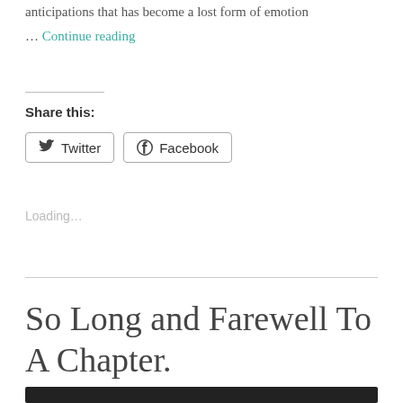anticipations that has become a lost form of emotion
… Continue reading
Share this:
Twitter   Facebook
Loading…
So Long and Farewell To A Chapter.